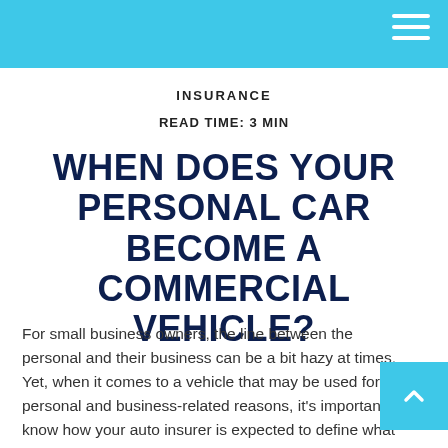INSURANCE
READ TIME: 3 MIN
WHEN DOES YOUR PERSONAL CAR BECOME A COMMERCIAL VEHICLE?
For small business owners, the line between the personal and their business can be a bit hazy at times.  Yet, when it comes to a vehicle that may be used for personal and business-related reasons, it's important to know how your auto insurer is expected to define what constitutes commercial use.